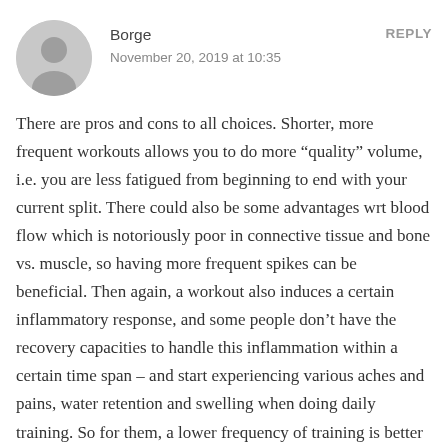Borge
November 20, 2019 at 10:35
REPLY
There are pros and cons to all choices. Shorter, more frequent workouts allows you to do more “quality” volume, i.e. you are less fatigued from beginning to end with your current split. There could also be some advantages wrt blood flow which is notoriously poor in connective tissue and bone vs. muscle, so having more frequent spikes can be beneficial. Then again, a workout also induces a certain inflammatory response, and some people don’t have the recovery capacities to handle this inflammation within a certain time span – and start experiencing various aches and pains, water retention and swelling when doing daily training. So for them, a lower frequency of training is better